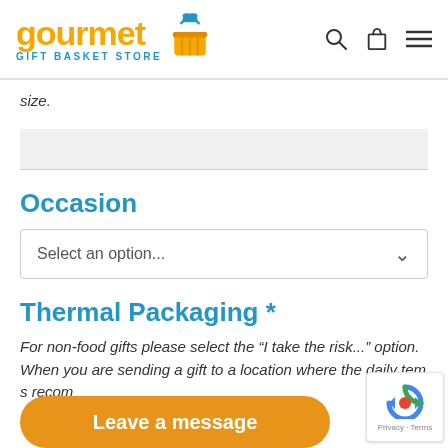gourmet GIFT BASKET STORE
size.
Occasion
Select an option...
Thermal Packaging *
For non-food gifts please select the “I take the risk...” option. When you are sending a gift to a location where the daily tem                                              s rec                                             om
Leave a message